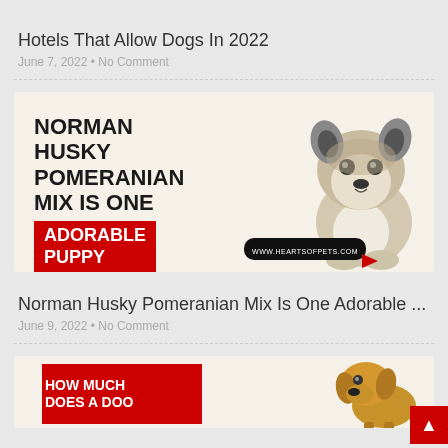Hotels That Allow Dogs In 2022
June 7, 2022 • No Comment
[Figure (illustration): Blog post thumbnail image for Norman Husky Pomeranian Mix article showing text overlaid on dog photo: 'NORMAN HUSKY POMERANIAN MIX IS ONE ADORABLE PUPPY' with red highlight box, and a fluffy husky-pomeranian puppy on the right side. Website URL www.heartsofpets.com shown at bottom.]
Norman Husky Pomeranian Mix Is One Adorable ...
June 9, 2022 • No Comment
[Figure (illustration): Blog post thumbnail image partially visible at bottom showing red box with text 'HOW MUCH DOES A DOG...' and a golden retriever dog on the right side.]